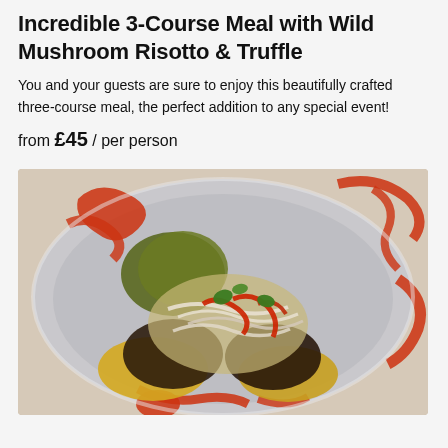Incredible 3-Course Meal with Wild Mushroom Risotto & Truffle
You and your guests are sure to enjoy this beautifully crafted three-course meal, the perfect addition to any special event!
from £45 / per person
[Figure (photo): Overhead photo of a gourmet plated dish on a grey ceramic plate with red sauce drizzled around, featuring grilled mushrooms, yellow components, pickled red onions, red pepper strips, and fresh green herbs.]